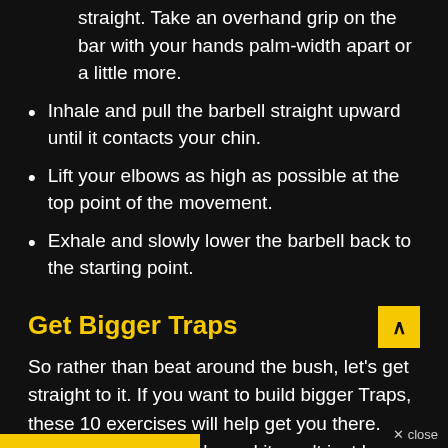straight. Take an overhand grip on the bar with your hands palm-width apart or a little more.
Inhale and pull the barbell straight upward until it contacts your chin.
Lift your elbows as high as possible at the top point of the movement.
Exhale and slowly lower the barbell back to the starting point.
Get Bigger Traps
So rather than beat around the bush, let's get straight to it. If you want to build bigger Traps, these 10 exercises will help get you there. Perform them properly, and it won't just be your Traps that start to bulge, your overall health will see an improvement, too.